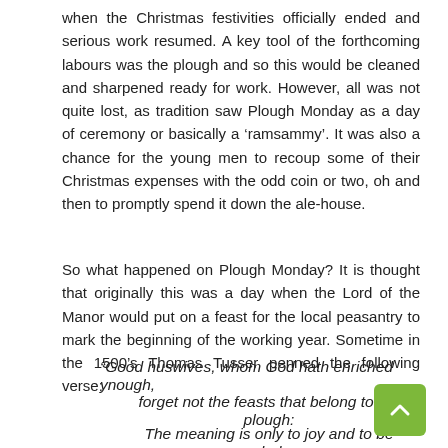when the Christmas festivities officially ended and serious work resumed. A key tool of the forthcoming labours was the plough and so this would be cleaned and sharpened ready for work. However, all was not quite lost, as tradition saw Plough Monday as a day of ceremony or basically a ‘ramsammy’. It was also a chance for the young men to recoup some of their Christmas expenses with the odd coin or two, oh and then to promptly spend it down the ale-house.
So what happened on Plough Monday? It is thought that originally this was a day when the Lord of the Manor would put on a feast for the local peasantry to mark the beginning of the working year. Sometime in the 1500’s Thomas Tusser penned the following verse:
“Good huswives, whom God hath enriched ynough,
forget not the feasts that belong to the plough:
The meaning is only to joy and to be glad,